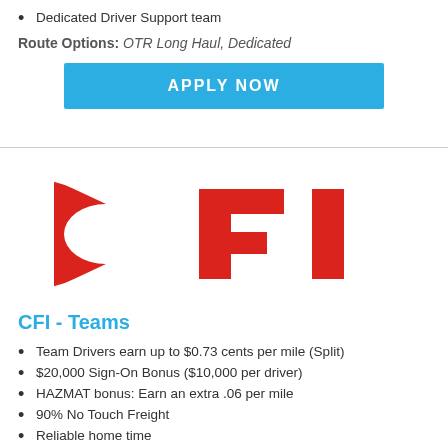Dedicated Driver Support team
Route Options: OTR Long Haul, Dedicated
APPLY NOW
[Figure (logo): CFI logo in red bold letters]
CFI - Teams
Team Drivers earn up to $0.73 cents per mile (Split)
$20,000 Sign-On Bonus ($10,000 per driver)
HAZMAT bonus: Earn an extra .06 per mile
90% No Touch Freight
Reliable home time